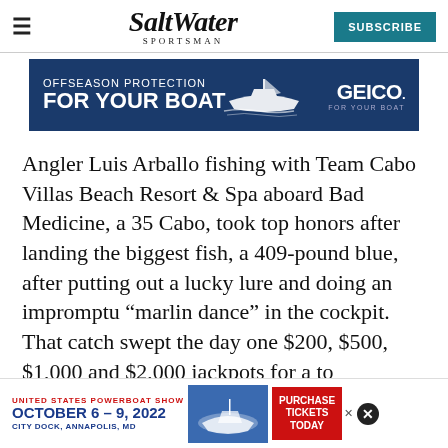Salt Water Sportsman | SUBSCRIBE
[Figure (infographic): GEICO advertisement: OFFSEASON PROTECTION FOR YOUR BOAT with boat illustration and GEICO logo]
Angler Luis Arballo fishing with Team Cabo Villas Beach Resort & Spa aboard Bad Medicine, a 35 Cabo, took top honors after landing the biggest fish, a 409-pound blue, after putting out a lucky lure and doing an impromptu “marlin dance” in the cockpit. That catch swept the day one $200, $500, $1,000 and $2,000 jackpots for a to[tal]
[Figure (infographic): United States Powerboat Show advertisement: October 6-9, 2022, City Dock, Annapolis, MD with PURCHASE TICKETS TODAY button]